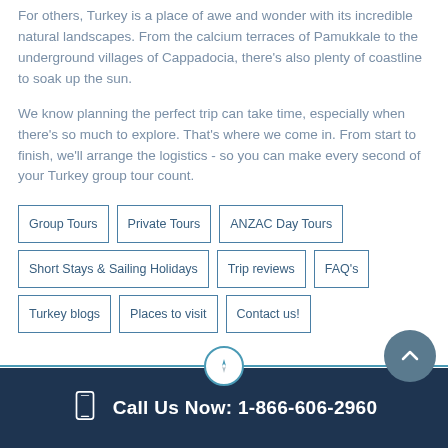For others, Turkey is a place of awe and wonder with its incredible natural landscapes. From the calcium terraces of Pamukkale to the underground villages of Cappadocia, there's also plenty of coastline to soak up the sun.
We know planning the perfect trip can take time, especially when there's so much to explore. That's where we come in. From start to finish, we'll arrange the logistics - so you can make every second of your Turkey group tour count.
Group Tours
Private Tours
ANZAC Day Tours
Short Stays & Sailing Holidays
Trip reviews
FAQ's
Turkey blogs
Places to visit
Contact us!
Call Us Now: 1-866-606-2960